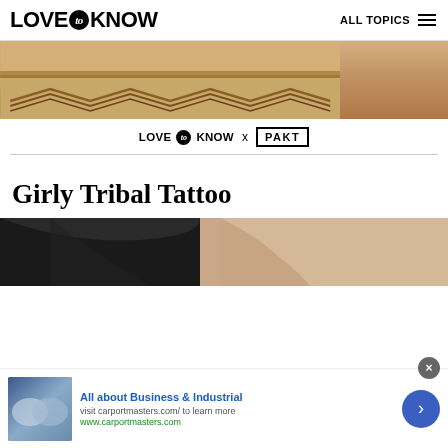LOVE to KNOW   ALL TOPICS ≡
[Figure (photo): Wooden furniture detail showing layered wood grain and chevron pattern, beige/tan tones]
[Figure (logo): LoveToKnow x PAKT partnership logo]
Girly Tribal Tattoo
[Figure (photo): Close-up photo of a person with dark hair showing neck/shoulder area, tattoo context]
[Figure (photo): Advertisement banner: handshake image with text 'All about Business & Industrial, visit carportmasters.com/ to learn more, www.carportmasters.com']